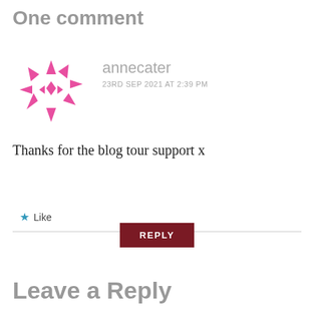One comment
annecater
23RD SEP 2021 AT 2:39 PM
[Figure (illustration): Pink decorative snowflake/asterisk avatar icon made of arrow-like triangular shapes]
Thanks for the blog tour support x
★ Like
REPLY
Leave a Reply